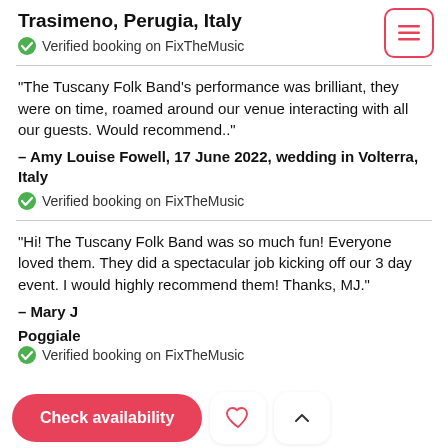Trasimeno, Perugia, Italy
✅ Verified booking on FixTheMusic
"The Tuscany Folk Band's performance was brilliant, they were on time, roamed around our venue interacting with all our guests. Would recommend.."
– Amy Louise Fowell, 17 June 2022, wedding in Volterra, Italy
✅ Verified booking on FixTheMusic
"Hi! The Tuscany Folk Band was so much fun! Everyone loved them. They did a spectacular job kicking off our 3 day event. I would highly recommend them! Thanks, MJ."
– Mary J... 0: Poggiale...
✅ Verified booking on FixTheMusic